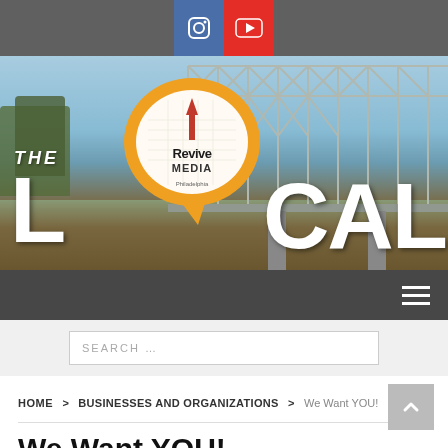Social media icons: Instagram, YouTube
[Figure (photo): Hero banner image showing a steel bridge over a river with blue sky. Overlaid text reads THE LOCAL with Revive Media logo bubble in orange.]
Navigation bar with hamburger menu
SEARCH ...
HOME > BUSINESSES AND ORGANIZATIONS > We Want YOU!
We Want YOU!